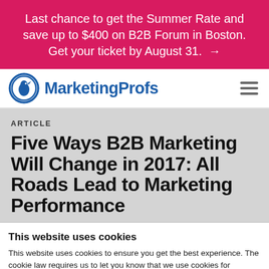Last chance to get the Summer Rate and save up to $400 on B2B Forum in Boston. Get your ticket by August 31. →
[Figure (logo): MarketingProfs logo with circular blue bird icon and blue text 'MarketingProfs']
ARTICLE
Five Ways B2B Marketing Will Change in 2017: All Roads Lead to Marketing Performance
This website uses cookies
This website uses cookies to ensure you get the best experience. The cookie law requires us to let you know that we use cookies for personalization, website traffic analysis, 3rd party tracking, and website functionality. And yeah, we're disappointed that the cookie law doesn't deliver actual cookies